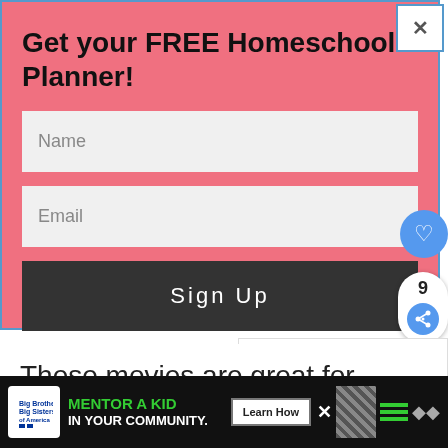Get your FREE Homeschool Planner!
Name
Email
Sign Up
These movies are great for kids in
[Figure (screenshot): WHAT'S NEXT arrow panel showing Whale Movies for Kids thumbnail]
MENTOR A KID IN YOUR COMMUNITY.
Learn How